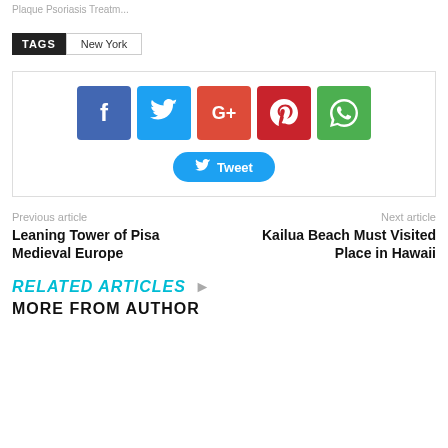Plaque Psoriasis Treatm...
TAGS  New York
[Figure (infographic): Social sharing buttons: Facebook (blue), Twitter (light blue), Google+ (orange-red), Pinterest (red), WhatsApp (green), and a Tweet button]
Previous article
Leaning Tower of Pisa Medieval Europe
Next article
Kailua Beach Must Visited Place in Hawaii
RELATED ARTICLES
MORE FROM AUTHOR